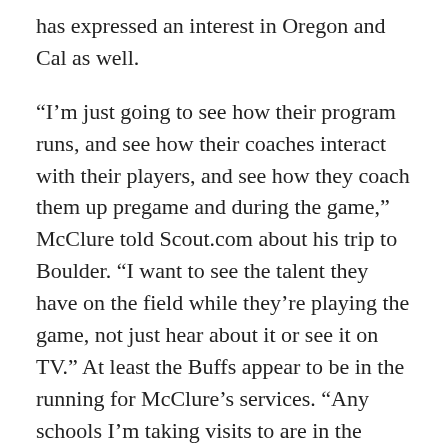has expressed an interest in Oregon and Cal as well.
“I’m just going to see how their program runs, and see how their coaches interact with their players, and see how they coach them up pregame and during the game,” McClure told Scout.com about his trip to Boulder. “I want to see the talent they have on the field while they’re playing the game, not just hear about it or see it on TV.” At least the Buffs appear to be in the running for McClure’s services. “Any schools I’m taking visits to are in the finals, and I’m considering them pretty hard,” said McClure.
Joining McClure in Boulder this weekend is his high school teammate, Alex Kelley. The 6’3, 295-pound offensive lineman is also from Vista, California, and will join McClure along the Colorado sidelines. Kelley is considered a three-star prospect, and has offers from Minnesota, Boise State